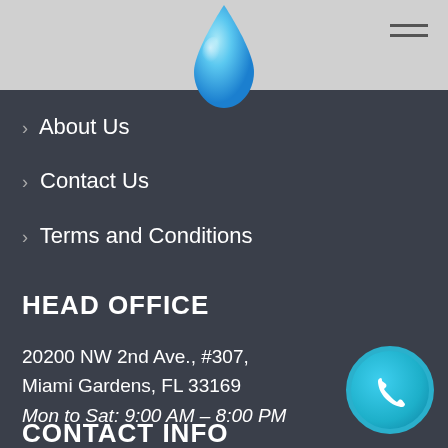[Figure (logo): Water drop logo icon in blue, centered at top of header bar]
> About Us
> Contact Us
> Terms and Conditions
HEAD OFFICE
20200 NW 2nd Ave., #307, Miami Gardens, FL 33169
Mon to Sat: 9:00 AM – 8:00 PM
CONTACT INFO
[Figure (illustration): Round teal phone call button with white handset icon, bottom right corner]